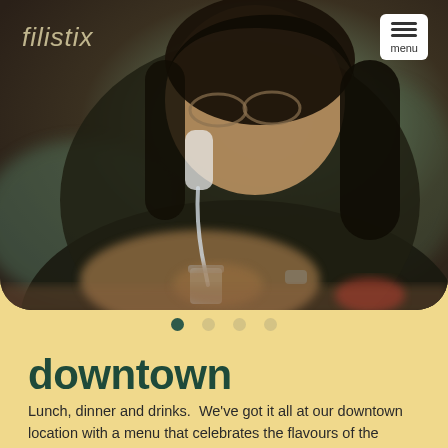[Figure (photo): Person pouring liquid from a squeeze bottle into a small glass, blurred background, restaurant/bar setting]
downtown
Lunch, dinner and drinks.  We've got it all at our downtown location with a menu that celebrates the flavours of the Philippines and Southeast Asia.